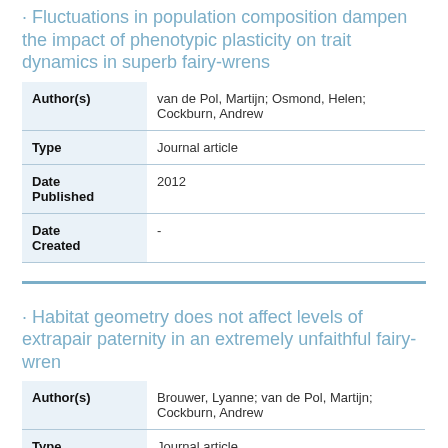· Fluctuations in population composition dampen the impact of phenotypic plasticity on trait dynamics in superb fairy-wrens
| Field | Value |
| --- | --- |
| Author(s) | van de Pol, Martijn; Osmond, Helen; Cockburn, Andrew |
| Type | Journal article |
| Date Published | 2012 |
| Date Created | - |
· Habitat geometry does not affect levels of extrapair paternity in an extremely unfaithful fairy-wren
| Field | Value |
| --- | --- |
| Author(s) | Brouwer, Lyanne; van de Pol, Martijn; Cockburn, Andrew |
| Type | Journal article |
| Date | 2014 |